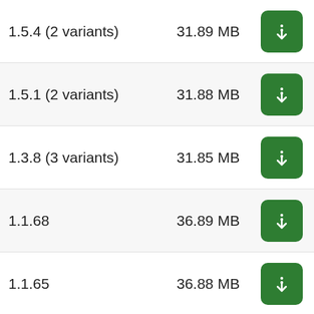| Version | Size | Action |
| --- | --- | --- |
| 1.5.4 (2 variants) | 31.89 MB | download |
| 1.5.1 (2 variants) | 31.88 MB | download |
| 1.3.8 (3 variants) | 31.85 MB | download |
| 1.1.68 | 36.89 MB | download |
| 1.1.65 | 36.88 MB | download |